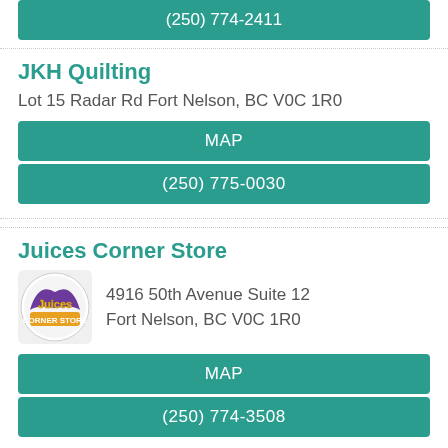(250) 774-2411
JKH Quilting
Lot 15 Radar Rd Fort Nelson, BC V0C 1R0
MAP
(250) 775-0030
Juices Corner Store
[Figure (logo): Juices Corner Store circular logo with eagle and store name]
4916 50th Avenue Suite 12 Fort Nelson, BC V0C 1R0
MAP
(250) 774-3508
JK Computers
[Figure (logo): JK Computers logo with company name and .ca]
7544 Valleyview Dr Fort Nelson, BC V0C 1R0